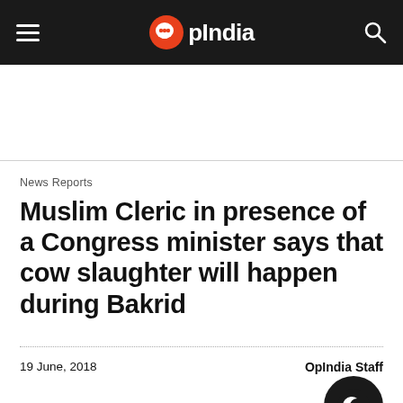OpIndia
News Reports
Muslim Cleric in presence of a Congress minister says that cow slaughter will happen during Bakrid
19 June, 2018
OpIndia Staff